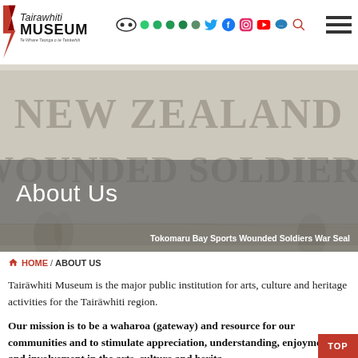Tairāwhiti Museum — navigation header with logo and social icons
[Figure (photo): Historical newspaper/document image with large text 'NEW ZEALAND WOUNDED SOLDIERS' in sepia/grey tones, with watermark-style illustrations]
About Us
Tokomaru Bay Sports Wounded Soldiers War Seal
HOME / ABOUT US
Tairāwhiti Museum is the major public institution for arts, culture and heritage activities for the Tairāwhiti region.
Our mission is to be a waharoa (gateway) and resource for our communities and to stimulate appreciation, understanding, enjoyment, and involvement in the arts, culture and heritage of Tairāwhiti.